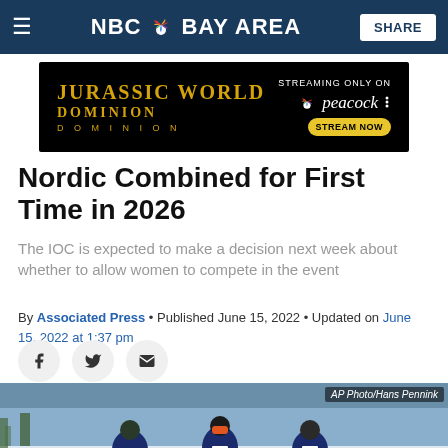NBC Bay Area
[Figure (illustration): Jurassic World Dominion advertisement banner - streaming only on Peacock, Stream Now]
Nordic Combined for First Time in 2026
The IOC is expected to make a decision next week about whether to allow women to compete in the event
By Associated Press • Published June 15, 2022 • Updated on June 15, 2022 at 1:37 pm
[Figure (photo): Three cross-country skiers wearing Lake Placid uniforms competing in a Nordic combined event. AP Photo/Hans Pennink]